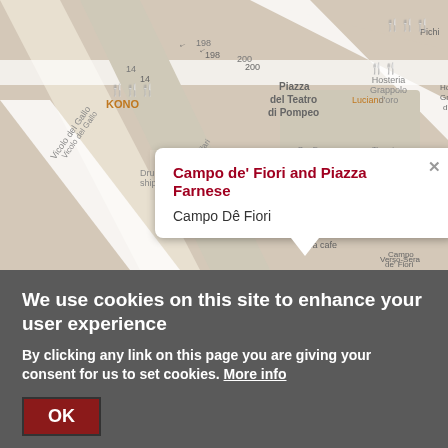[Figure (map): Street map of Campo de' Fiori area in Rome, showing streets including Vicolo del Gallo and dei Baullari, locations like KONO, Drunken ship, Taba cafe, Campo de' Fiori, Bar Farnese, Hosteria Grappolo d'oro, Tiramisu, Piazza del Teatro di Pompeo, Luciano, Verso-Sera. Various restaurant and food icons shown. A red map pin marks Campo de' Fiori. A popup balloon reads 'Campo de' Fiori and Piazza Farnese' / 'Campo Dê Fiori'.]
We use cookies on this site to enhance your user experience
By clicking any link on this page you are giving your consent for us to set cookies. More info
OK